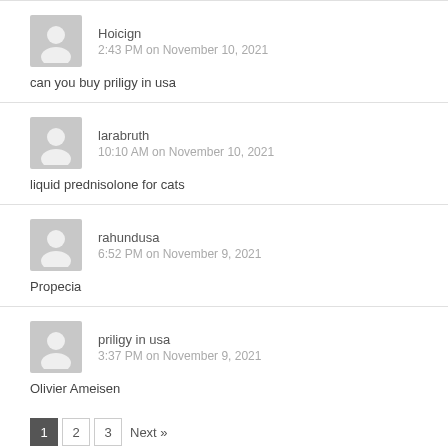Hoicign
2:43 PM on November 10, 2021
can you buy priligy in usa
larabruth
10:10 AM on November 10, 2021
liquid prednisolone for cats
rahundusa
6:52 PM on November 9, 2021
Propecia
priligy in usa
3:37 PM on November 9, 2021
Olivier Ameisen
1  2  3  Next »